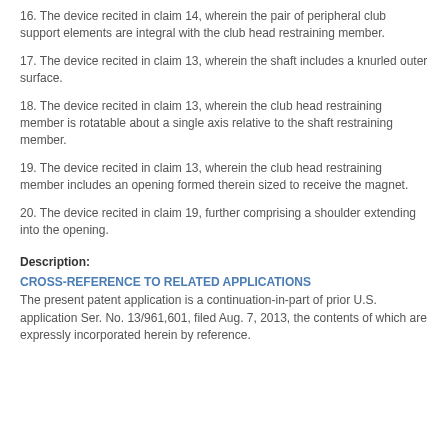16. The device recited in claim 14, wherein the pair of peripheral club support elements are integral with the club head restraining member.
17. The device recited in claim 13, wherein the shaft includes a knurled outer surface.
18. The device recited in claim 13, wherein the club head restraining member is rotatable about a single axis relative to the shaft restraining member.
19. The device recited in claim 13, wherein the club head restraining member includes an opening formed therein sized to receive the magnet.
20. The device recited in claim 19, further comprising a shoulder extending into the opening.
Description:
CROSS-REFERENCE TO RELATED APPLICATIONS
The present patent application is a continuation-in-part of prior U.S. application Ser. No. 13/961,601, filed Aug. 7, 2013, the contents of which are expressly incorporated herein by reference.